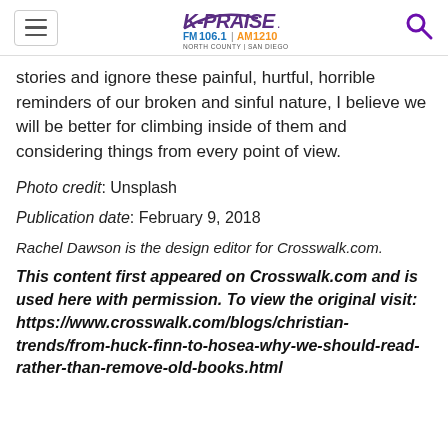K-PRAISE FM 106.1 AM 1210 NORTH COUNTY | SAN DIEGO
stories and ignore these painful, hurtful, horrible reminders of our broken and sinful nature, I believe we will be better for climbing inside of them and considering things from every point of view.
Photo credit: Unsplash
Publication date: February 9, 2018
Rachel Dawson is the design editor for Crosswalk.com.
This content first appeared on Crosswalk.com and is used here with permission. To view the original visit: https://www.crosswalk.com/blogs/christian-trends/from-huck-finn-to-hosea-why-we-should-read-rather-than-remove-old-books.html